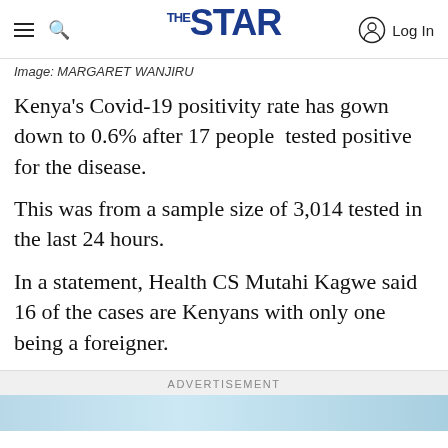THE STAR — Log In
Image: MARGARET WANJIRU
Kenya's Covid-19 positivity rate has gown down to 0.6% after 17 people  tested positive for the disease.
This was from a sample size of 3,014 tested in the last 24 hours.
In a statement, Health CS Mutahi Kagwe said 16 of the cases are Kenyans with only one being a foreigner.
[Figure (other): Advertisement banner placeholder at bottom of page]